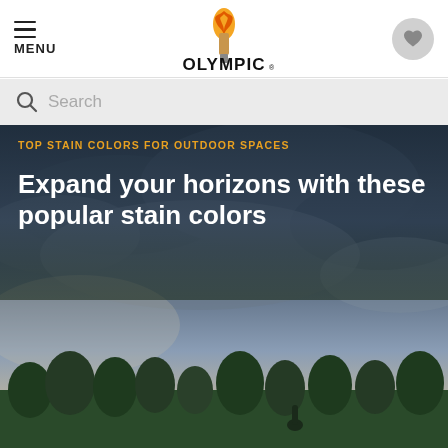MENU | OLYMPIC | [heart icon]
Search
TOP STAIN COLORS FOR OUTDOOR SPACES
Expand your horizons with these popular stain colors
[Figure (photo): Panoramic outdoor landscape photo showing dramatic storm clouds over a wide sky, with green trees in the foreground and a person visible at the bottom right. The scene appears to be taken from an elevated deck or viewpoint.]